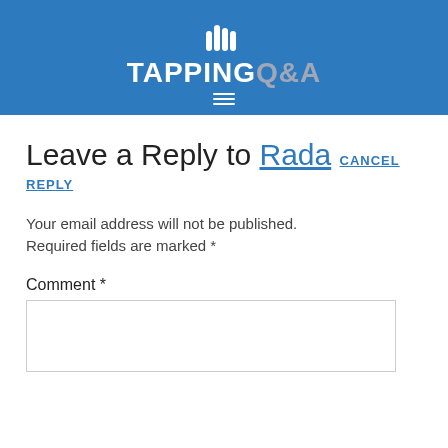[Figure (logo): Tapping Q&A website logo on blue header background, with hand/finger icon above the text TAPPINGQ&A and a hamburger menu icon below]
Leave a Reply to Rada CANCEL REPLY
Your email address will not be published. Required fields are marked *
Comment *